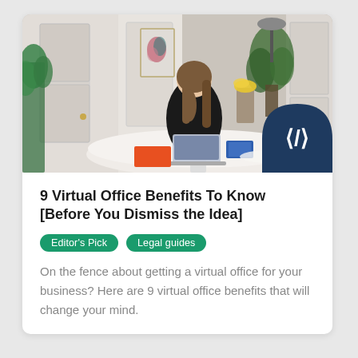[Figure (photo): A woman with long brown hair sits at a round white table in a bright, elegant home office, working on a laptop. The room has white paneled doors, a framed abstract artwork on the wall, and green plants. Items on the table include an orange package and blue binder. A dark navy badge with a white stylized logo appears in the bottom-right corner of the photo.]
9 Virtual Office Benefits To Know [Before You Dismiss the Idea]
Editor's Pick
Legal guides
On the fence about getting a virtual office for your business? Here are 9 virtual office benefits that will change your mind.